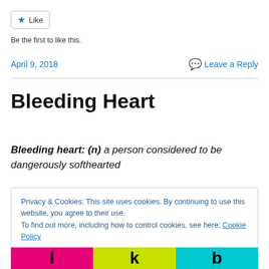[Figure (other): Like button widget with star icon and 'Like' label]
Be the first to like this.
April 9, 2018    Leave a Reply
Bleeding Heart
Bleeding heart: (n) a person considered to be dangerously softhearted
Privacy & Cookies: This site uses cookies. By continuing to use this website, you agree to their use.
To find out more, including how to control cookies, see here: Cookie Policy
[Figure (other): Colorful striped banner at the bottom with bold letters on pink, yellow-green, and cyan backgrounds]